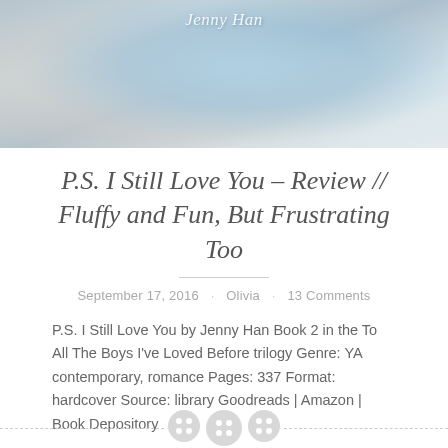[Figure (photo): Photo of a book 'To All The Boys I've Loved Before' by Jenny Han placed on a floral fabric background with a blue object, with cursive text overlay reading 'Jenny Han']
P.S. I Still Love You – Review // Fluffy and Fun, But Frustrating Too
September 17, 2016 · Olivia · 13 Comments
P.S. I Still Love You by Jenny Han Book 2 in the To All The Boys I've Loved Before trilogy Genre: YA contemporary, romance Pages: 337 Format: hardcover Source: library Goodreads | Amazon | Book Depository